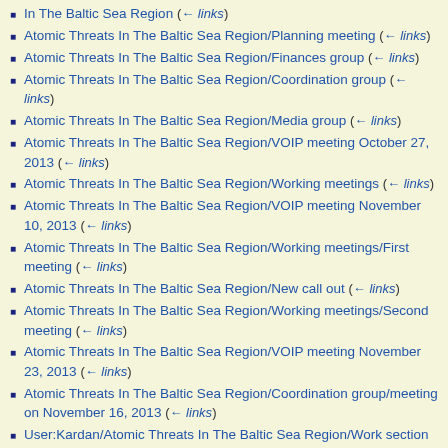In The Baltic Sea Region (← links)
Atomic Threats In The Baltic Sea Region/Planning meeting (← links)
Atomic Threats In The Baltic Sea Region/Finances group (← links)
Atomic Threats In The Baltic Sea Region/Coordination group (← links)
Atomic Threats In The Baltic Sea Region/Media group (← links)
Atomic Threats In The Baltic Sea Region/VOIP meeting October 27, 2013 (← links)
Atomic Threats In The Baltic Sea Region/Working meetings (← links)
Atomic Threats In The Baltic Sea Region/VOIP meeting November 10, 2013 (← links)
Atomic Threats In The Baltic Sea Region/Working meetings/First meeting (← links)
Atomic Threats In The Baltic Sea Region/New call out (← links)
Atomic Threats In The Baltic Sea Region/Working meetings/Second meeting (← links)
Atomic Threats In The Baltic Sea Region/VOIP meeting November 23, 2013 (← links)
Atomic Threats In The Baltic Sea Region/Coordination group/meeting on November 16, 2013 (← links)
User:Kardan/Atomic Threats In The Baltic Sea Region/Work section (transclusion) (← links)
User:Kardan/Atomic Threats In The Baltic Sea Region (← links)
User:Kardan/Atomic Threats In The Baltic Sea Region/Book project (←